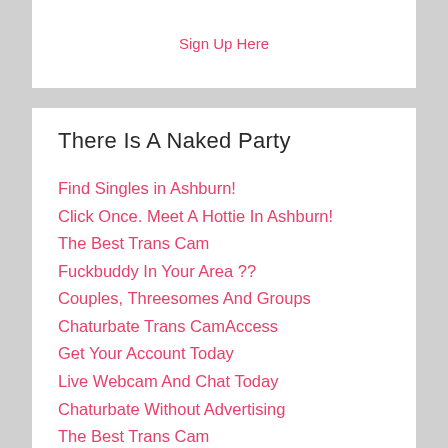Sign Up Here
There Is A Naked Party
Find Singles in Ashburn!
Click Once. Meet A Hottie In Ashburn!
The Best Trans Cam
Fuckbuddy In Your Area ??
Couples, Threesomes And Groups
Chaturbate Trans CamAccess
Get Your Account Today
Live Webcam And Chat Today
Chaturbate Without Advertising
The Best Trans Cam
Petite And Extra Small Girls
Peak Porn